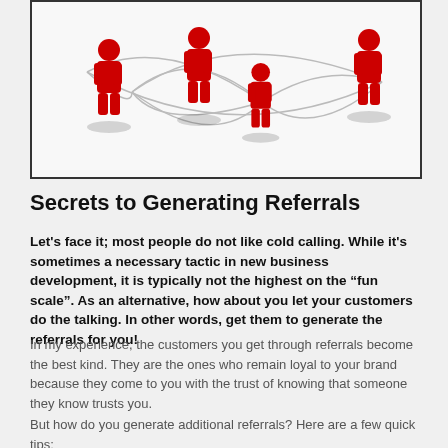[Figure (illustration): Network of red 3D human figures connected by curving lines on a light background, representing referral networks.]
Secrets to Generating Referrals
Let's face it; most people do not like cold calling. While it's sometimes a necessary tactic in new business development, it is typically not the highest on the “fun scale”. As an alternative, how about you let your customers do the talking. In other words, get them to generate the referrals for you!
In my experience, the customers you get through referrals become the best kind. They are the ones who remain loyal to your brand because they come to you with the trust of knowing that someone they know trusts you.
But how do you generate additional referrals? Here are a few quick tips: